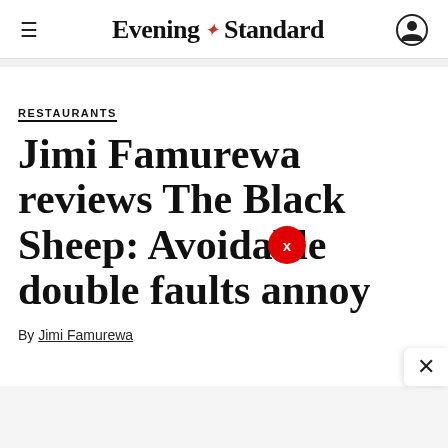Evening Standard
RESTAURANTS
Jimi Famurewa reviews The Black Sheep: Avoidable double faults annoy
By Jimi Famurewa